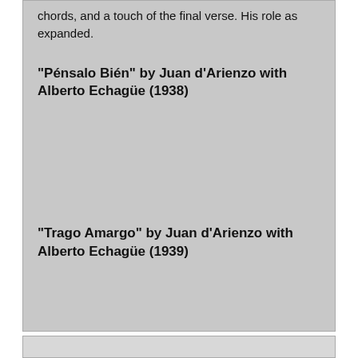chords, and a touch of the final verse. His role as expanded.
"Pénsalo Bién" by Juan d'Arienzo with Alberto Echagüe (1938)
"Trago Amargo" by Juan d'Arienzo with Alberto Echagüe (1939)